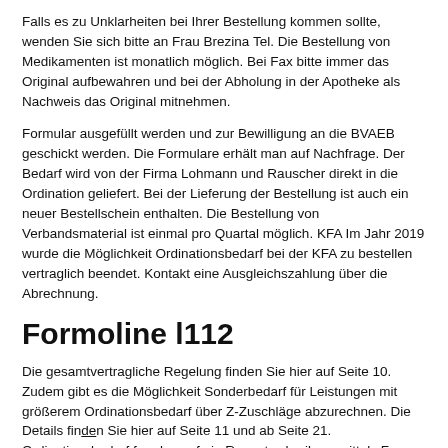Falls es zu Unklarheiten bei Ihrer Bestellung kommen sollte, wenden Sie sich bitte an Frau Brezina Tel. Die Bestellung von Medikamenten ist monatlich möglich. Bei Fax bitte immer das Original aufbewahren und bei der Abholung in der Apotheke als Nachweis das Original mitnehmen.
Formular ausgefüllt werden und zur Bewilligung an die BVAEB geschickt werden. Die Formulare erhält man auf Nachfrage. Der Bedarf wird von der Firma Lohmann und Rauscher direkt in die Ordination geliefert. Bei der Lieferung der Bestellung ist auch ein neuer Bestellschein enthalten. Die Bestellung von Verbandsmaterial ist einmal pro Quartal möglich. KFA Im Jahr 2019 wurde die Möglichkeit Ordinationsbedarf bei der KFA zu bestellen vertraglich beendet. Kontakt eine Ausgleichszahlung über die Abrechnung.
Formoline l112
Die gesamtvertragliche Regelung finden Sie hier auf Seite 10. Zudem gibt es die Möglichkeit Sonderbedarf für Leistungen mit größerem Ordinationsbedarf über Z-Zuschläge abzurechnen. Die Details finden Sie hier auf Seite 11 und ab Seite 21. Ordinationsbedarf formlos auf ein Rezept schreiben, mittels Fax an die SVS schicken. Grundsätzlich